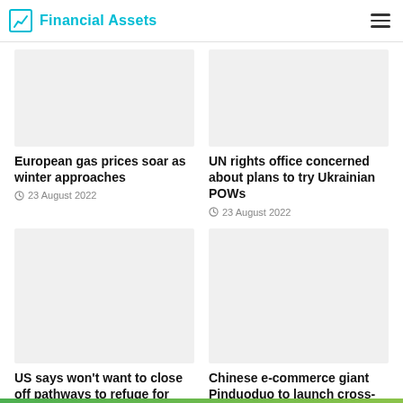Financial Assets
[Figure (photo): Placeholder image for European gas prices article]
European gas prices soar as winter approaches
23 August 2022
[Figure (photo): Placeholder image for UN rights office article]
UN rights office concerned about plans to try Ukrainian POWs
23 August 2022
[Figure (photo): Placeholder image for US pathways article]
US says won't want to close off pathways to refuge for Russian dissidents
[Figure (photo): Placeholder image for Chinese e-commerce article]
Chinese e-commerce giant Pinduoduo to launch cross-border platform next month